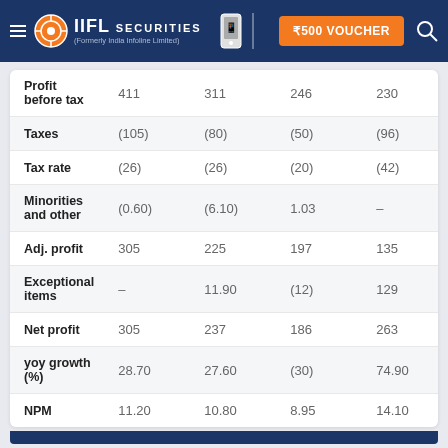IIFL Securities (Formerly India Infoline Limited) — ₹500 VOUCHER
|  |  |  |  |  |
| --- | --- | --- | --- | --- |
| Profit before tax | 411 | 311 | 246 | 230 |
| Taxes | (105) | (80) | (50) | (96) |
| Tax rate | (26) | (26) | (20) | (42) |
| Minorities and other | (0.60) | (6.10) | 1.03 | – |
| Adj. profit | 305 | 225 | 197 | 135 |
| Exceptional items | – | 11.90 | (12) | 129 |
| Net profit | 305 | 237 | 186 | 263 |
| yoy growth (%) | 28.70 | 27.60 | (30) | 74.90 |
| NPM | 11.20 | 10.80 | 8.95 | 14.10 |